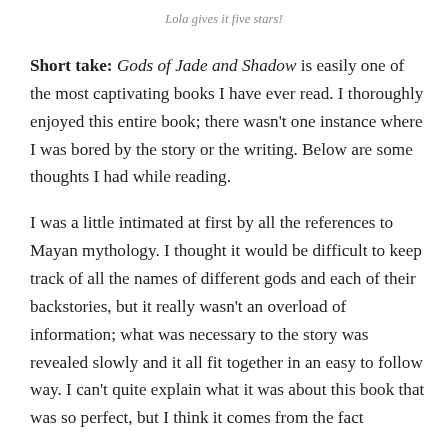Lola gives it five stars!
Short take: Gods of Jade and Shadow is easily one of the most captivating books I have ever read. I thoroughly enjoyed this entire book; there wasn't one instance where I was bored by the story or the writing. Below are some thoughts I had while reading.
I was a little intimated at first by all the references to Mayan mythology. I thought it would be difficult to keep track of all the names of different gods and each of their backstories, but it really wasn't an overload of information; what was necessary to the story was revealed slowly and it all fit together in an easy to follow way. I can't quite explain what it was about this book that was so perfect, but I think it comes from the fact